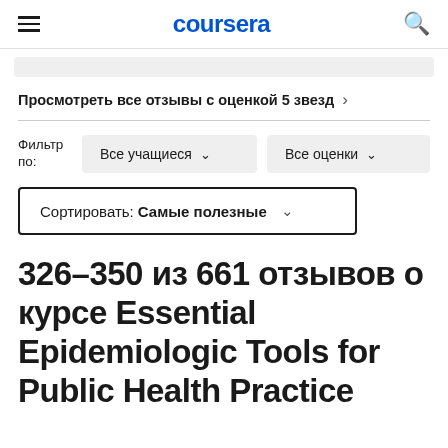coursera
Просмотреть все отзывы с оценкой 5 звезд →
Фильтр по: Все учащиеся ∨   Все оценки ∨
Сортировать: Самые полезные ∨
326–350 из 661 отзывов о курсе Essential Epidemiologic Tools for Public Health Practice